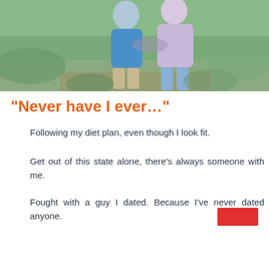[Figure (photo): Two people embracing outdoors in a field with green grass. One person wearing a blue shirt and khaki shorts, the other wearing a light purple cardigan and jeans.]
“Never have I ever…”
Following my diet plan, even though I look fit.
Get out of this state alone, there’s always someone with me.
Fought with a guy I dated. Because I’ve never dated anyone.